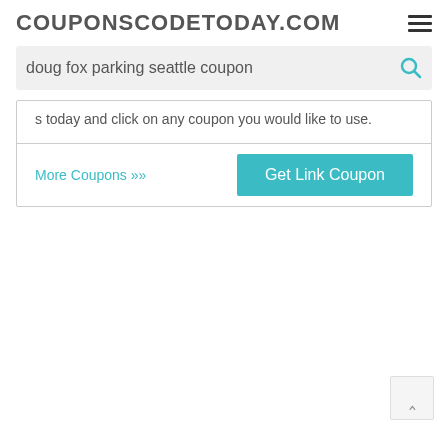COUPONSCODETODAY.COM
doug fox parking seattle coupon
s today and click on any coupon you would like to use.
More Coupons ›› | Get Link Coupon